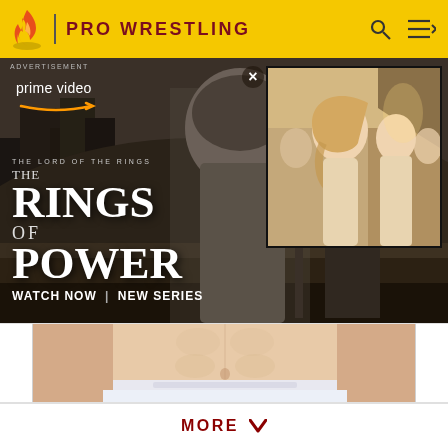PRO WRESTLING
[Figure (screenshot): Amazon Prime Video advertisement for 'The Lord of the Rings: The Rings of Power' showing an orc/dark creature statue figure in the center with dark hooded figures, Prime Video logo and text 'THE LORD OF THE RINGS THE RINGS OF POWER WATCH NOW | NEW SERIES' on the left, and a right inset image showing a blonde woman and others in robes. Close button X visible top right.]
[Figure (photo): Cropped photo of a man's torso wearing white underwear/briefs on a white background. Part of a product listing or advertisement.]
MORE ∨